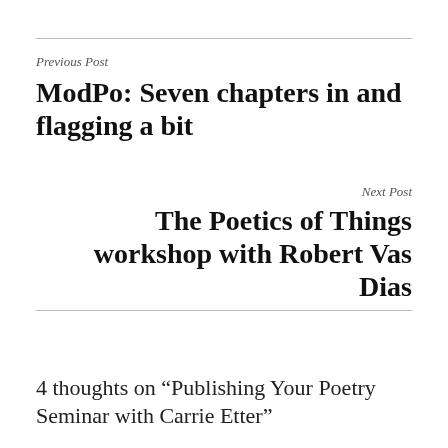Previous Post
ModPo: Seven chapters in and flagging a bit
Next Post
The Poetics of Things workshop with Robert Vas Dias
4 thoughts on “Publishing Your Poetry Seminar with Carrie Etter”